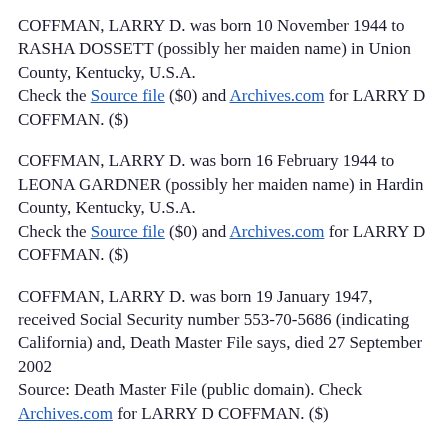COFFMAN, LARRY D. was born 10 November 1944 to RASHA DOSSETT (possibly her maiden name) in Union County, Kentucky, U.S.A. Check the Source file ($0) and Archives.com for LARRY D COFFMAN. ($)
COFFMAN, LARRY D. was born 16 February 1944 to LEONA GARDNER (possibly her maiden name) in Hardin County, Kentucky, U.S.A. Check the Source file ($0) and Archives.com for LARRY D COFFMAN. ($)
COFFMAN, LARRY D. was born 19 January 1947, received Social Security number 553-70-5686 (indicating California) and, Death Master File says, died 27 September 2002 Source: Death Master File (public domain). Check Archives.com for LARRY D COFFMAN. ($)
COFFMAN, LARRY D. was born 27 August 1954,